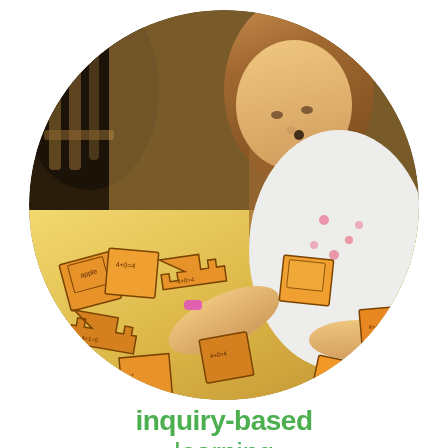[Figure (photo): A young girl with long blonde hair, wearing a white floral shirt, leaning over a table and arranging orange puzzle pieces. The photo is cropped in a circular shape on a white background.]
inquiry-based learning